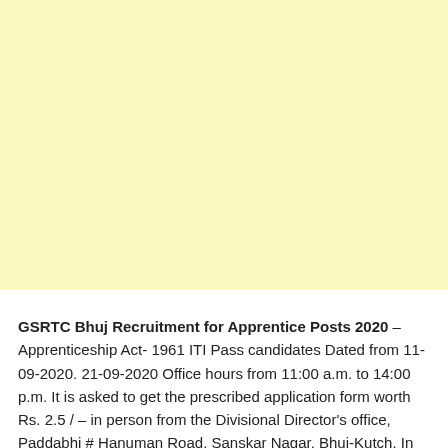[Figure (other): Blank yellow/cream colored background area occupying the top portion of the page]
GSRTC Bhuj Recruitment for Apprentice Posts 2020 – Apprenticeship Act- 1961 ITI Pass candidates Dated from 11-09-2020. 21-09-2020 Office hours from 11:00 a.m. to 14:00 p.m. It is asked to get the prescribed application form worth Rs. 2.5 / – in person from the Divisional Director's office, Paddabhi # Hanuman Road, Sanskar Nagar, Bhuj-Kutch. In which serial no. Age limit for 1 is 18 to 28 years and rank no. 18 to 30 years for 2